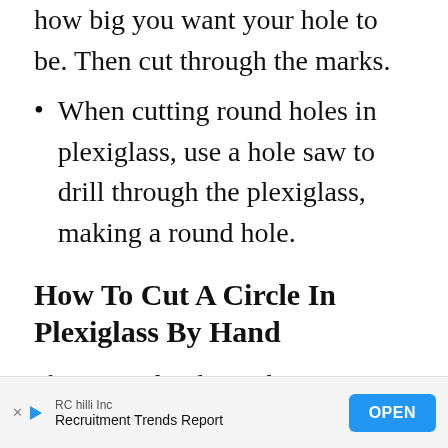how big you want your hole to be. Then cut through the marks.
When cutting round holes in plexiglass, use a hole saw to drill through the plexiglass, making a round hole.
How To Cut A Circle In Plexiglass By Hand
If you need to know how to cut
[Figure (other): Advertisement banner: RC hilli Inc – Recruitment Trends Report – OPEN button]